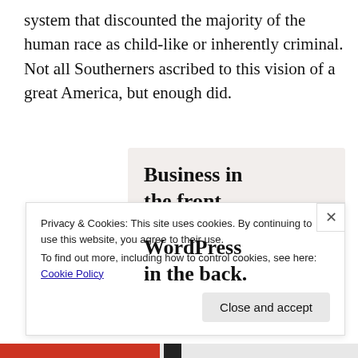system that discounted the majority of the human race as child-like or inherently criminal. Not all Southerners ascribed to this vision of a great America, but enough did.
[Figure (illustration): A WordPress advertisement banner with two sections: top section with light beige background reading 'Business in the front...' in bold, and bottom section with an orange/peach background with decorative circles reading 'WordPress in the back.' in bold.]
Privacy & Cookies: This site uses cookies. By continuing to use this website, you agree to their use.
To find out more, including how to control cookies, see here: Cookie Policy